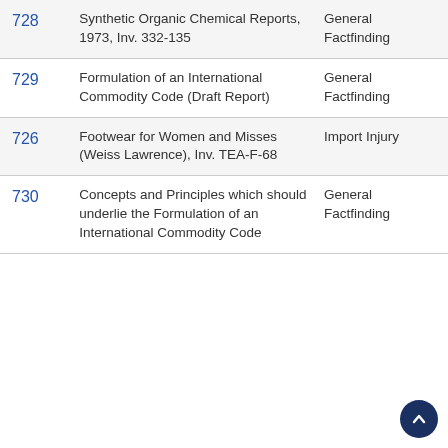|  | Title | Type |
| --- | --- | --- |
| 728 | Synthetic Organic Chemical Reports, 1973, Inv. 332-135 | General Factfinding |
| 729 | Formulation of an International Commodity Code (Draft Report) | General Factfinding |
| 726 | Footwear for Women and Misses (Weiss Lawrence), Inv. TEA-F-68 | Import Injury |
| 730 | Concepts and Principles which should underlie the Formulation of an International Commodity Code | General Factfinding |